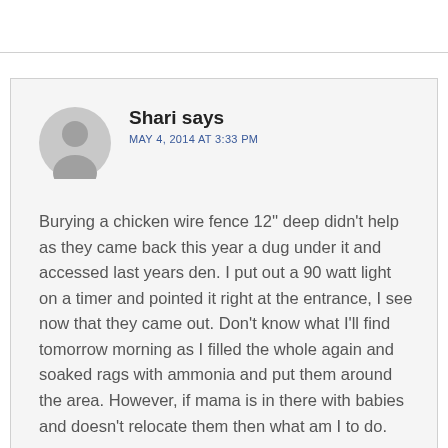Shari says
MAY 4, 2014 AT 3:33 PM
Burying a chicken wire fence 12" deep didn't help as they came back this year a dug under it and accessed last years den. I put out a 90 watt light on a timer and pointed it right at the entrance, I see now that they came out. Don't know what I'll find tomorrow morning as I filled the whole again and soaked rags with ammonia and put them around the area. However, if mama is in there with babies and doesn't relocate them then what am I to do.